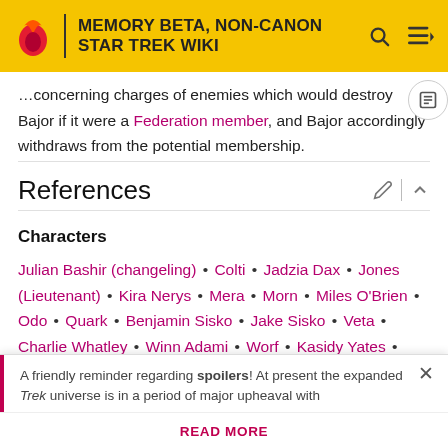MEMORY BETA, NON-CANON STAR TREK WIKI
...concerning charges of enemies which would destroy Bajor if it were a Federation member, and Bajor accordingly withdraws from the potential membership.
References
Characters
Julian Bashir (changeling) • Colti • Jadzia Dax • Jones (Lieutenant) • Kira Nerys • Mera • Morn • Miles O'Brien • Odo • Quark • Benjamin Sisko • Jake Sisko • Veta • Charlie Whatley • Winn Adami • Worf • Kasidy Yates • Yevir Liniarin
A friendly reminder regarding spoilers! At present the expanded Trek universe is in a period of major upheaval with...
READ MORE